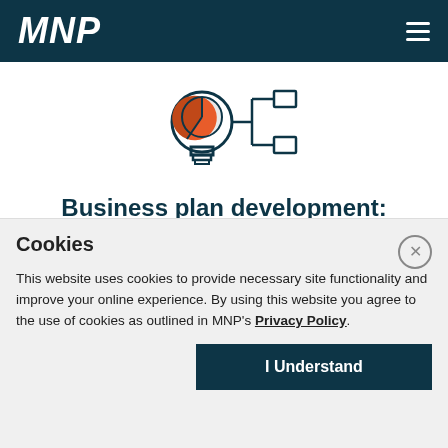MNP
[Figure (illustration): Icon of a lightbulb with an orange pie chart inside and a flowchart/tree diagram extending to the right, drawn in dark teal outlines]
Business plan development: Develop your business plan to
Cookies
This website uses cookies to provide necessary site functionality and improve your online experience. By using this website you agree to the use of cookies as outlined in MNP's Privacy Policy.
I Understand